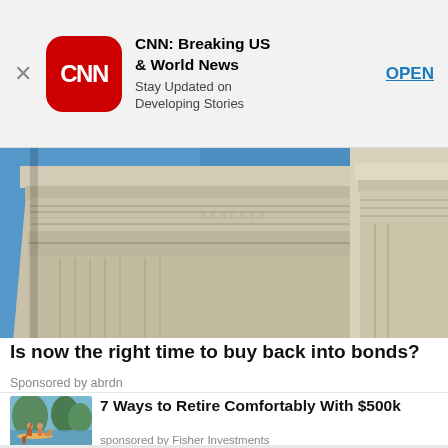[Figure (screenshot): CNN app download banner: CNN logo (white text on red rounded square), title 'CNN: Breaking US & World News', subtitle 'Stay Updated on Developing Stories', and OPEN button]
[Figure (photo): Close-up photograph of a classical government or financial building exterior with stone columns and blue sky]
Is now the right time to buy back into bonds?
Sponsored by abrdn
[Figure (illustration): Two people paddleboarding on a lake with a dog, illustrated style]
7 Ways to Retire Comfortably With $500k
sponsored by Fisher Investments
Baby Boomers Can Now Get An